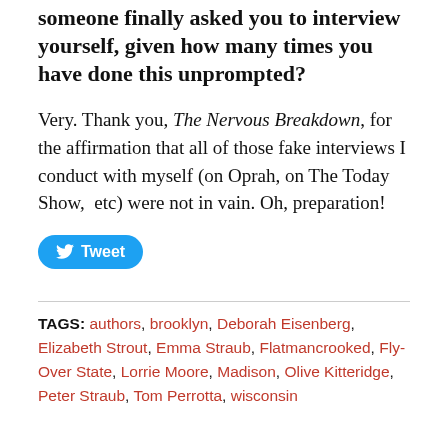someone finally asked you to interview yourself, given how many times you have done this unprompted?
Very. Thank you, The Nervous Breakdown, for the affirmation that all of those fake interviews I conduct with myself (on Oprah, on The Today Show, etc) were not in vain. Oh, preparation!
Tweet
TAGS: authors, brooklyn, Deborah Eisenberg, Elizabeth Strout, Emma Straub, Flatmancrooked, Fly-Over State, Lorrie Moore, Madison, Olive Kitteridge, Peter Straub, Tom Perrotta, wisconsin